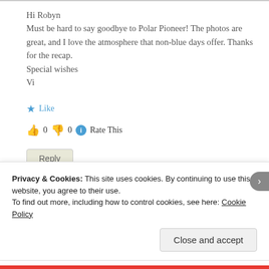Hi Robyn
Must be hard to say goodbye to Polar Pioneer! The photos are great, and I love the atmosphere that non-blue days offer. Thanks for the recap.
Special wishes
Vi
★ Like
👍 0 👎 0 ℹ Rate This
Reply
Privacy & Cookies: This site uses cookies. By continuing to use this website, you agree to their use.
To find out more, including how to control cookies, see here: Cookie Policy
Close and accept